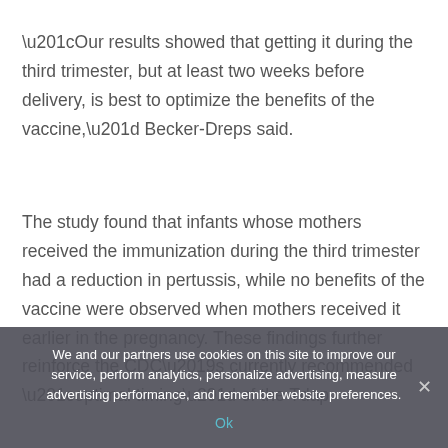“Our results showed that getting it during the third trimester, but at least two weeks before delivery, is best to optimize the benefits of the vaccine,” Becker-Dreps said.
The study found that infants whose mothers received the immunization during the third trimester had a reduction in pertussis, while no benefits of the vaccine were observed when mothers received it earlier in the pregnancy. These findings further reinforce the CDC’s currently recommended “optimal timing” of the Tdap
We and our partners use cookies on this site to improve our service, perform analytics, personalize advertising, measure advertising performance, and remember website preferences.
Ok